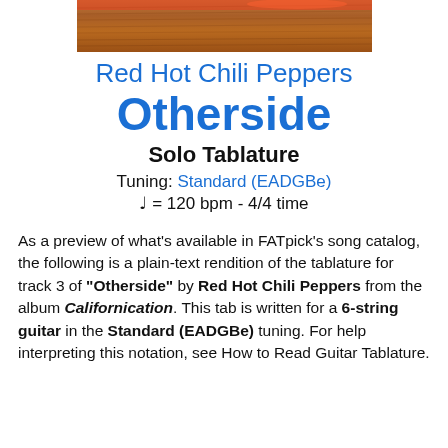[Figure (photo): Partial view of a wooden surface with warm brown tones, appears to be a guitar body or wooden floor, cropped at the top of the page.]
Red Hot Chili Peppers
Otherside
Solo Tablature
Tuning: Standard (EADGBe)
♩ = 120 bpm - 4/4 time
As a preview of what's available in FATpick's song catalog, the following is a plain-text rendition of the tablature for track 3 of "Otherside" by Red Hot Chili Peppers from the album Californication. This tab is written for a 6-string guitar in the Standard (EADGBe) tuning. For help interpreting this notation, see How to Read Guitar Tablature.